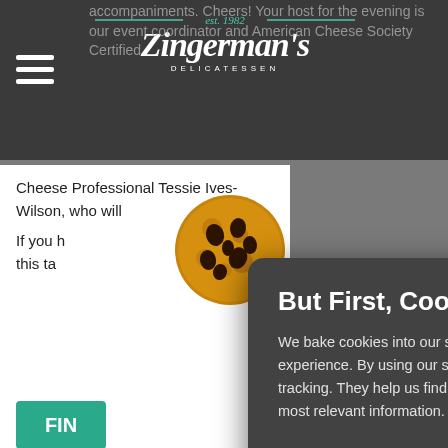[Figure (screenshot): Zingerman's Delicatessen website header with hamburger menu icon and logo showing 'est. 1982' and 'Zingerman's DELICATESSEN' in white on dark background]
accompaniments. Cheers! Your host for the evening is our event coordinator and American Cheese Society Certified
Cheese Professional Tessie Ives-Wilson, who will
If you h this ta
[Figure (illustration): Cookie emoji graphic - brown cookie with chocolate chips, partially overlapping the cookie consent modal]
But First, Cookies!
We bake cookies into our site to provide you with the best experience. By using our site, you consent to cookies and tracking. They help us find site issues and bring you the most relevant information.
Learn More
Accept & Continue
Smoke 'em if You Catch 'em